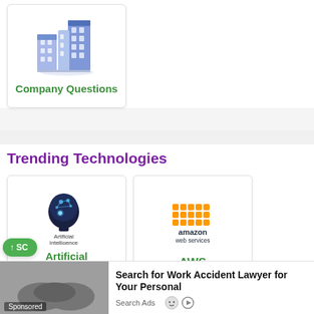[Figure (illustration): Card showing isometric blue buildings/company icon with label 'Company Questions']
Trending Technologies
[Figure (illustration): Card showing AI brain/head icon with label 'Artificial Intelligence']
[Figure (logo): Card showing Amazon Web Services logo with label 'AWS']
Search for Work Accident Lawyer for Your Personal
Search Ads
Sponsored